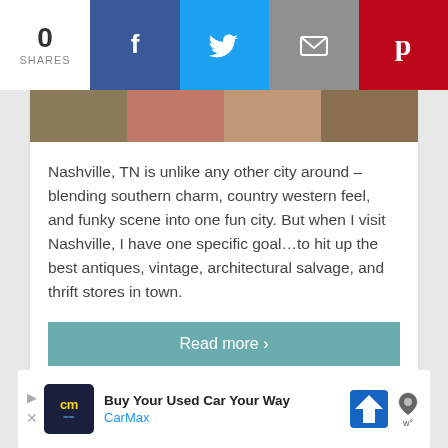[Figure (screenshot): Social share bar with 0 shares, Facebook (blue), Twitter (light blue), email (gray), Pinterest (red) buttons]
[Figure (photo): Horizontal photo strip showing antiques and vintage store items]
Nashville, TN is unlike any other city around – blending southern charm, country western feel, and funky scene into one fun city. But when I visit Nashville, I have one specific goal…to hit up the best antiques, vintage, architectural salvage, and thrift stores in town.
Read more ›
[Figure (screenshot): CarMax advertisement: Buy Your Used Car Your Way, CarMax logo, navigation icon, Waze-style icon]